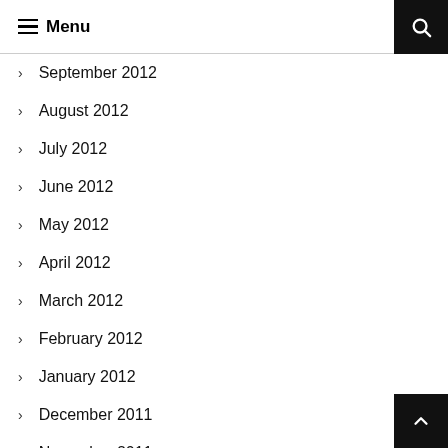≡ Menu
September 2012
August 2012
July 2012
June 2012
May 2012
April 2012
March 2012
February 2012
January 2012
December 2011
November 2011